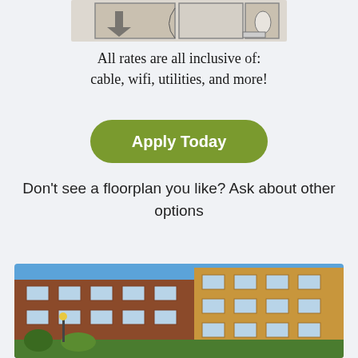[Figure (illustration): Partial floorplan diagram showing apartment layout from above]
All rates are all inclusive of: cable, wifi, utilities, and more!
Apply Today
Don't see a floorplan you like? Ask about other options
[Figure (photo): Exterior photo of a multi-story apartment complex with brown and yellow/orange facade under a blue sky]